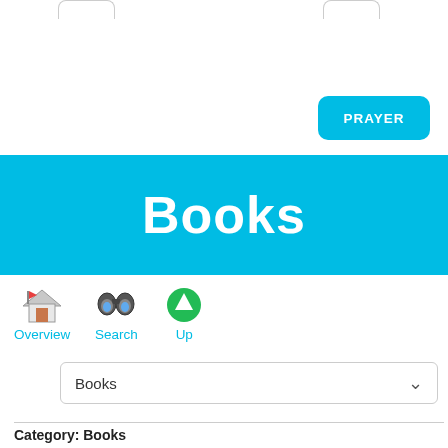[Figure (screenshot): Top navigation bar with two rounded tabs partially visible at top]
[Figure (screenshot): PRAYER button in cyan/blue rounded rectangle]
Books
[Figure (screenshot): Navigation icons: Overview (house with flag emoji), Search (binoculars emoji), Up (green up arrow emoji) with cyan labels]
[Figure (screenshot): Dropdown selector showing 'Books' with chevron arrow]
Category: Books